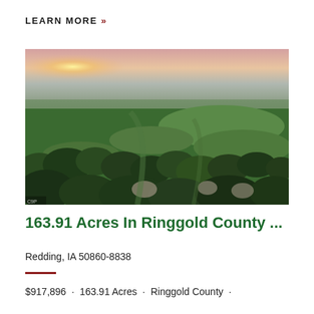LEARN MORE »
[Figure (photo): Aerial drone photograph of 163.91 acres of farmland and wooded areas in Ringgold County, Iowa, at sunset. Green fields with tree lines, rolling terrain, pinkish sky at horizon.]
163.91 Acres In Ringgold County ...
Redding, IA 50860-8838
$917,896 · 163.91 Acres · Ringgold County ·